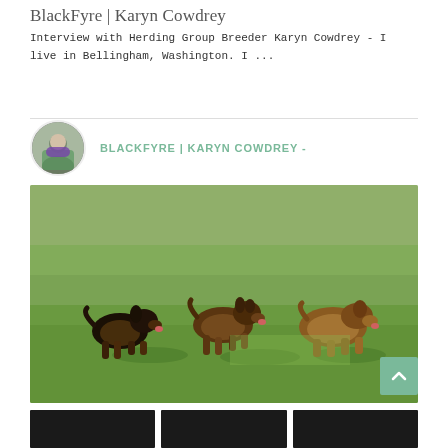BlackFyre | Karyn Cowdrey
Interview with Herding Group Breeder Karyn Cowdrey - I live in Bellingham, Washington. I ...
BLACKFYRE | KARYN COWDREY -
[Figure (photo): Three small terrier-type dogs running across a grassy field. The dogs vary from dark black-and-tan to lighter brown, all running left to right with tongues out.]
[Figure (photo): Small thumbnail images at the bottom of the page, dark background, details not visible.]